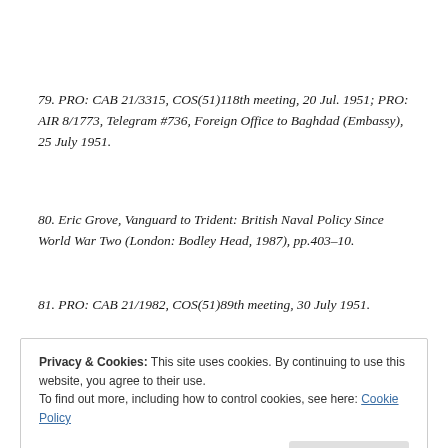79. PRO: CAB 21/3315, COS(51)118th meeting, 20 Jul. 1951; PRO: AIR 8/1773, Telegram #736, Foreign Office to Baghdad (Embassy), 25 July 1951.
80. Eric Grove, Vanguard to Trident: British Naval Policy Since World War Two (London: Bodley Head, 1987), pp.403–10.
81. PRO: CAB 21/1982, COS(51)89th meeting, 30 July 1951.
Privacy & Cookies: This site uses cookies. By continuing to use this website, you agree to their use.
To find out more, including how to control cookies, see here: Cookie Policy
Close and accept